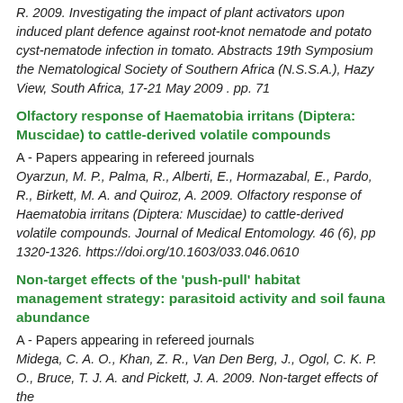R. 2009. Investigating the impact of plant activators upon induced plant defence against root-knot nematode and potato cyst-nematode infection in tomato. Abstracts 19th Symposium the Nematological Society of Southern Africa (N.S.S.A.), Hazy View, South Africa, 17-21 May 2009 . pp. 71
Olfactory response of Haematobia irritans (Diptera: Muscidae) to cattle-derived volatile compounds
A - Papers appearing in refereed journals
Oyarzun, M. P., Palma, R., Alberti, E., Hormazabal, E., Pardo, R., Birkett, M. A. and Quiroz, A. 2009. Olfactory response of Haematobia irritans (Diptera: Muscidae) to cattle-derived volatile compounds. Journal of Medical Entomology. 46 (6), pp 1320-1326. https://doi.org/10.1603/033.046.0610
Non-target effects of the 'push-pull' habitat management strategy: parasitoid activity and soil fauna abundance
A - Papers appearing in refereed journals
Midega, C. A. O., Khan, Z. R., Van Den Berg, J., Ogol, C. K. P. O., Bruce, T. J. A. and Pickett, J. A. 2009. Non-target effects of the